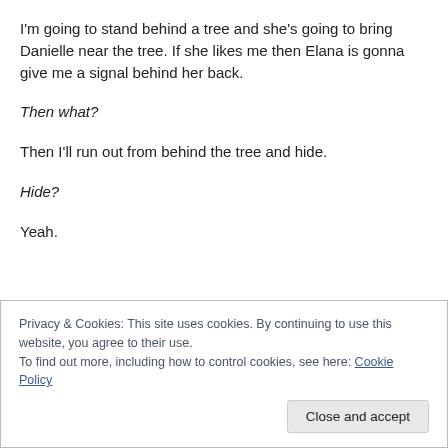I'm going to stand behind a tree and she's going to bring Danielle near the tree. If she likes me then Elana is gonna give me a signal behind her back.
Then what?
Then I'll run out from behind the tree and hide.
Hide?
Yeah.
Privacy & Cookies: This site uses cookies. By continuing to use this website, you agree to their use.
To find out more, including how to control cookies, see here: Cookie Policy